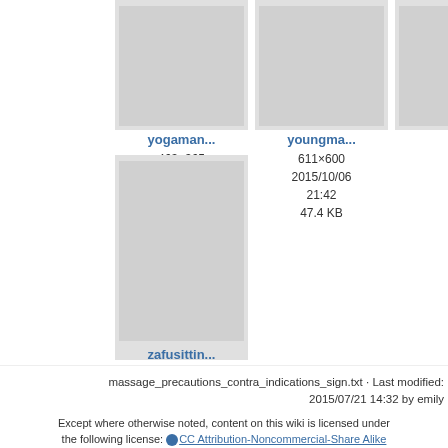[Figure (screenshot): File thumbnail card for yogaman... showing dimensions 463×365, date 2015/03/17 19:58, size 31.3 KB]
[Figure (screenshot): File thumbnail card for youngma... showing dimensions 611×600, date 2015/10/06 21:42, size 47.4 KB]
[Figure (screenshot): File thumbnail card for yv... partially cut off on right edge]
[Figure (screenshot): File thumbnail card for zafusittin... showing dimensions 264×242, date 2015/07/30 16:26, size 13 KB]
massage_precautions_contra_indications_sign.txt · Last modified: 2015/07/21 14:32 by emily
Except where otherwise noted, content on this wiki is licensed under the following license: CC Attribution-Noncommercial-Share Alike